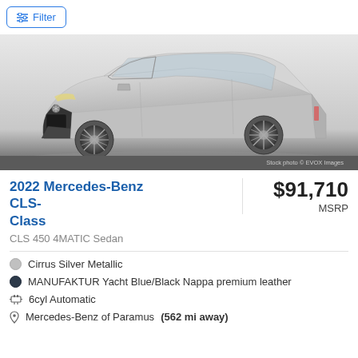Filter
[Figure (photo): Silver 2022 Mercedes-Benz CLS-Class sedan, 3/4 front view, on white/grey gradient background. Stock photo © EVOX Images.]
2022 Mercedes-Benz CLS-Class
$91,710 MSRP
CLS 450 4MATIC Sedan
Cirrus Silver Metallic
MANUFAKTUR Yacht Blue/Black Nappa premium leather
6cyl Automatic
Mercedes-Benz of Paramus (562 mi away)